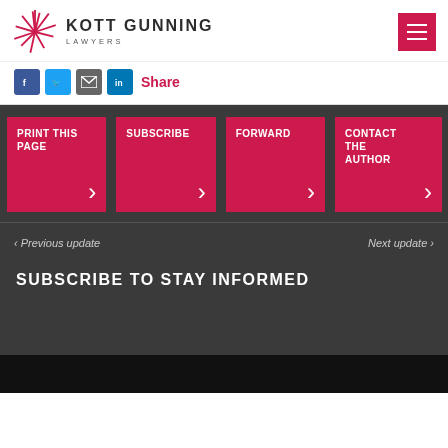KOTT GUNNING LAWYERS
Share
[Figure (infographic): Four red CTA tiles: PRINT THIS PAGE, SUBSCRIBE, FORWARD, CONTACT THE AUTHOR, each with a right chevron arrow]
< Previous update
Next update >
SUBSCRIBE TO STAY INFORMED